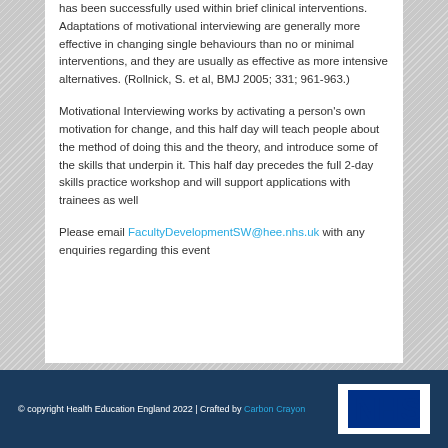has been successfully used within brief clinical interventions. Adaptations of motivational interviewing are generally more effective in changing single behaviours than no or minimal interventions, and they are usually as effective as more intensive alternatives. (Rollnick, S. et al, BMJ 2005; 331; 961-963.)
Motivational Interviewing works by activating a person's own motivation for change, and this half day will teach people about the method of doing this and the theory, and introduce some of the skills that underpin it. This half day precedes the full 2-day skills practice workshop and will support applications with trainees as well
Please email FacultyDevelopmentSW@hee.nhs.uk with any enquiries regarding this event
© copyright Health Education England 2022 | Crafted by Carbon Crayon